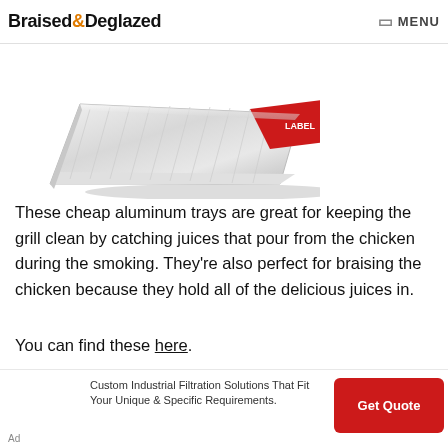Braised&Deglazed  MENU
[Figure (photo): Aluminum foil tray with red label, shown at an angle on a white background]
These cheap aluminum trays are great for keeping the grill clean by catching juices that pour from the chicken during the smoking. They're also perfect for braising the chicken because they hold all of the delicious juices in.
You can find these here.
[Figure (other): Advertisement: Custom Industrial Filtration Solutions That Fit Your Unique & Specific Requirements. Get Quote button.]